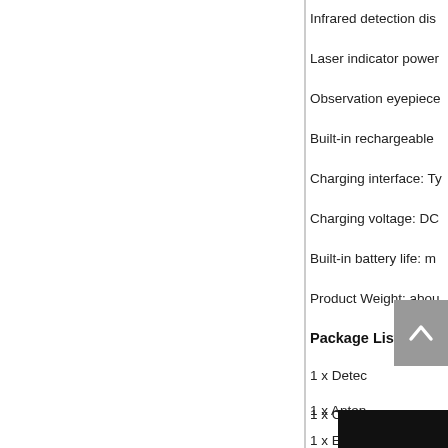Infrared detection dis
Laser indicator power
Observation eyepiece
Built-in rechargeable
Charging interface: Ty
Charging voltage: DC
Built-in battery life: m
Product Weight: abou
Package List:
1 x Detec
1 x Anten
1 x Charging USB Ca
1 x English User Man
[Figure (other): Dark/black area at the bottom right of the page, partially visible]